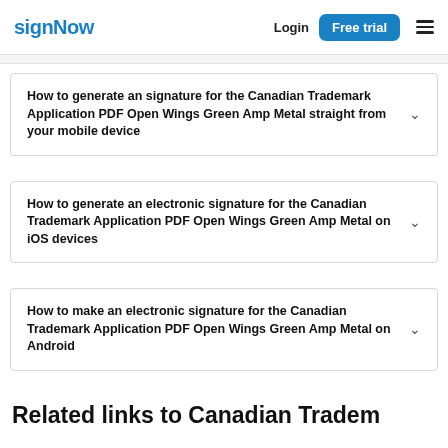signNow | Login | Free trial
How to generate an signature for the Canadian Trademark Application PDF Open Wings Green Amp Metal straight from your mobile device
How to generate an electronic signature for the Canadian Trademark Application PDF Open Wings Green Amp Metal on iOS devices
How to make an electronic signature for the Canadian Trademark Application PDF Open Wings Green Amp Metal on Android
Related links to Canadian Trademark